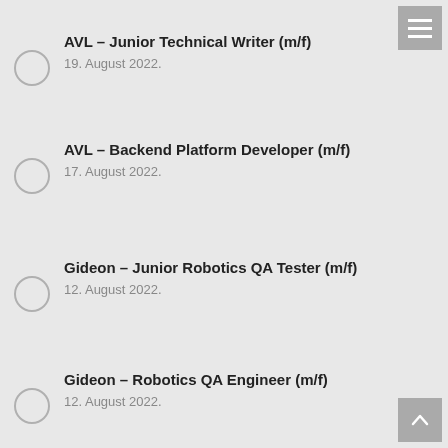AVL – Junior Technical Writer (m/f)
19. August 2022.
AVL – Backend Platform Developer (m/f)
17. August 2022.
Gideon – Junior Robotics QA Tester (m/f)
12. August 2022.
Gideon – Robotics QA Engineer (m/f)
12. August 2022.